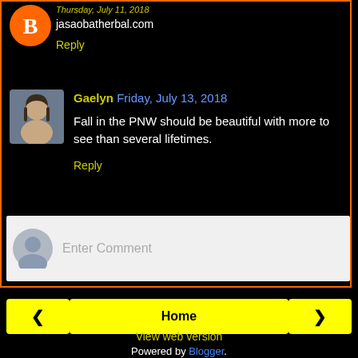jasaobatherbal.com
Reply
Gaelyn Friday, July 13, 2018
Fall in the PNW should be beautiful with more to see than several lifetimes.
Reply
Enter Comment
Home
View web version
Powered by Blogger.